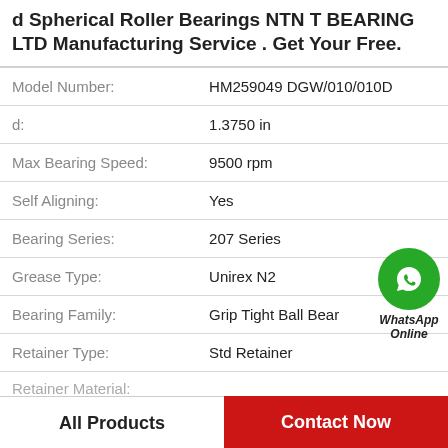d Spherical Roller Bearings NTN T BEARING LTD Manufacturing Service . Get Your Free.
| Attribute | Value |
| --- | --- |
| Model Number: | HM259049 DGW/010/010D |
| d: | 1.3750 in |
| Max Bearing Speed: | 9500 rpm |
| Self Aligning: | Yes |
| Bearing Series: | 207 Series |
| Grease Type: | Unirex N2 |
| Bearing Family: | Grip Tight Ball Bear |
| Retainer Type: | Std Retainer |
| Retainer Material: | ... |
[Figure (logo): WhatsApp Online green phone icon with label]
All Products
Contact Now